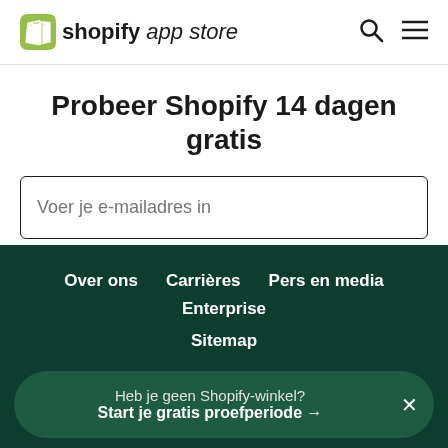shopify app store
Probeer Shopify 14 dagen gratis
Voer je e-mailadres in
Gratis proefperiode starten
Over ons
Carrières
Pers en media
Enterprise
Sitemap
Heb je geen Shopify-winkel? Start je gratis proefperiode →